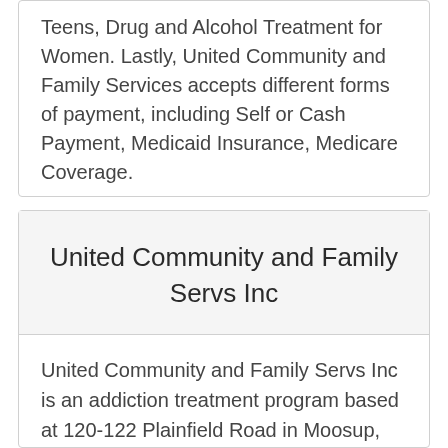Teens, Drug and Alcohol Treatment for Women. Lastly, United Community and Family Services accepts different forms of payment, including Self or Cash Payment, Medicaid Insurance, Medicare Coverage.
United Community and Family Servs Inc
United Community and Family Servs Inc is an addiction treatment program based at 120-122 Plainfield Road in Moosup, Connecticut.
The main approaches to treatment at this